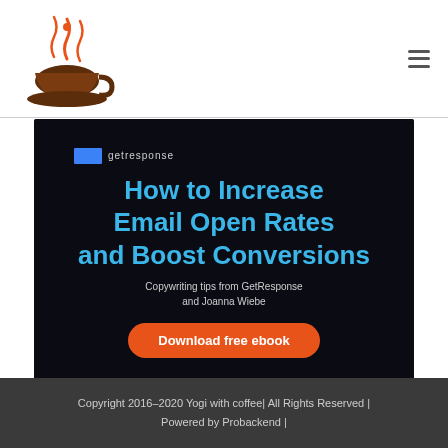[Figure (logo): Coffee cup logo with steam, orange and brown colors — Yogi with coffee brand logo]
[Figure (illustration): GetResponse promotional banner with dark background showing: 'How to Increase Email Open Rates and Boost Conversions', subtitle 'Copywriting tips from GetResponse and Joanna Wiebe', and an orange 'Download free ebook' button]
Copyright 2016–2020 Yogi with coffee| All Rights Reserved | Powered by Probackend |